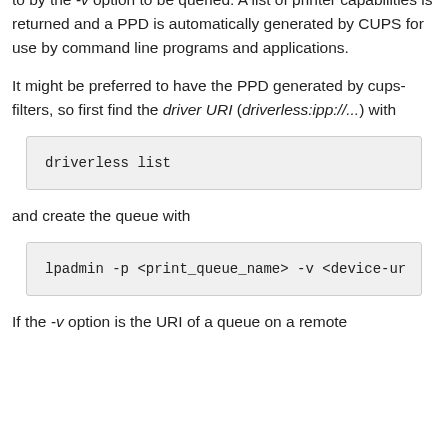to by the -v option to be queried. A list of printer capabilities is returned and a PPD is automatically generated by CUPS for use by command line programs and applications.
It might be preferred to have the PPD generated by cups-filters, so first find the driver URI (driverless:ipp://...) with
driverless list
and create the queue with
lpadmin -p <print_queue_name> -v <device-ur
If the -v option is the URI of a queue on a remote